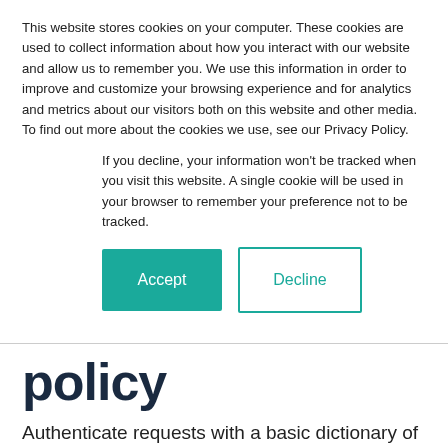This website stores cookies on your computer. These cookies are used to collect information about how you interact with our website and allow us to remember you. We use this information in order to improve and customize your browsing experience and for analytics and metrics about our visitors both on this website and other media. To find out more about the cookies we use, see our Privacy Policy.
If you decline, your information won't be tracked when you visit this website. A single cookie will be used in your browser to remember your preference not to be tracked.
Accept | Decline
policy
Authenticate requests with a basic dictionary of usernames and passwords.
Basic authentication sends encoded user credentials in